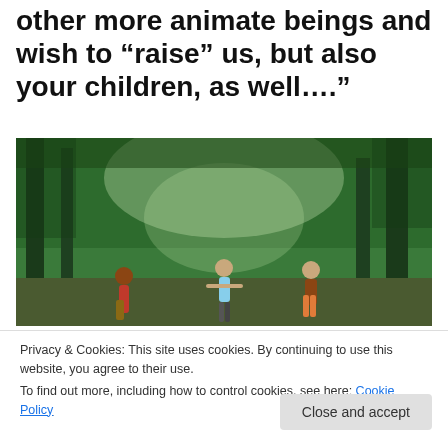other more animate beings and wish to “raise” us, but also your children, as well….”
[Figure (photo): Children playing outdoors in a lush tropical green forest with tall palm trees and dense foliage. Three children are visible in the scene.]
Privacy & Cookies: This site uses cookies. By continuing to use this website, you agree to their use.
To find out more, including how to control cookies, see here: Cookie Policy